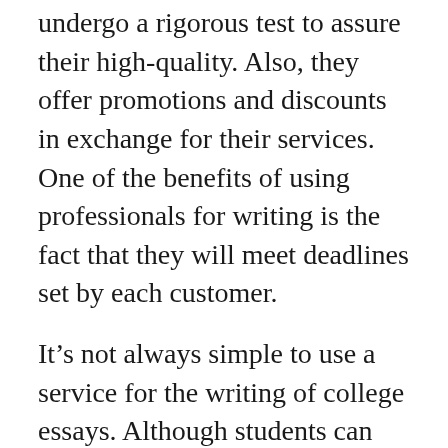undergo a rigorous test to assure their high-quality. Also, they offer promotions and discounts in exchange for their services. One of the benefits of using professionals for writing is the fact that they will meet deadlines set by each customer.
It’s not always simple to use a service for the writing of college essays. Although students can use a writing service to help them with their research projects however, the ethical implications of employing the services of a professional writer is challenging. While many college essays don’t contain any